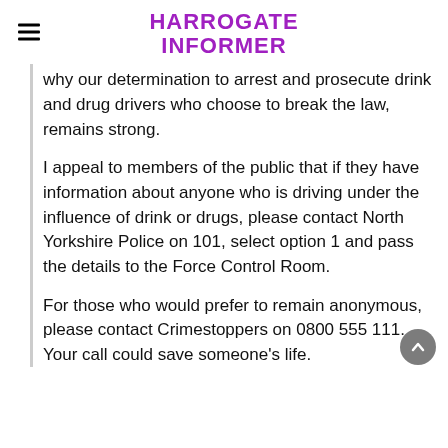HARROGATE INFORMER
why our determination to arrest and prosecute drink and drug drivers who choose to break the law, remains strong.
I appeal to members of the public that if they have information about anyone who is driving under the influence of drink or drugs, please contact North Yorkshire Police on 101, select option 1 and pass the details to the Force Control Room.
For those who would prefer to remain anonymous, please contact Crimestoppers on 0800 555 111. Your call could save someone's life.